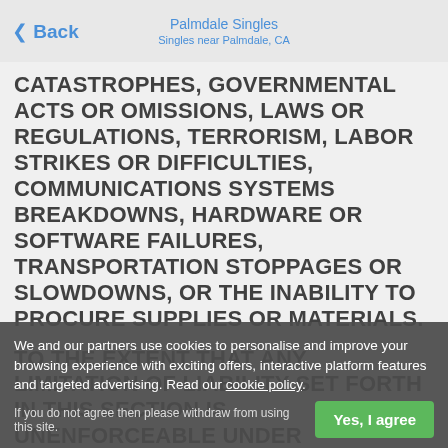Back | Palmdale Singles | Singles near Palmdale, CA
CATASTROPHES, GOVERNMENTAL ACTS OR OMISSIONS, LAWS OR REGULATIONS, TERRORISM, LABOR STRIKES OR DIFFICULTIES, COMMUNICATIONS SYSTEMS BREAKDOWNS, HARDWARE OR SOFTWARE FAILURES, TRANSPORTATION STOPPAGES OR SLOWDOWNS, OR THE INABILITY TO PROCURE SUPPLIES OR MATERIALS.
TO THE EXTENT THAT ANY LIMITATION OF LIABILITY SET FORTH IN THIS SECTION IS UNENFORCEABLE UNDER APPLICABLE LAW, IN NO EVENT SHALL WHITE LABEL DATING, THE SITE OWNER, OR ANY AGENTS, AFFILIATES, OFFICERS, DIRECTORS, EMPLOYEES, SHAREHOLDERS OR OTHER REPRESENTATIVES OF THE FOREGOING BE LIABLE FOR (A) ANY AGGREGATE LIABILITY IN EXCESS OF THE GREATER OF (I) THE FEES PAID TO OR SUBSCRIPTION FEES OR OTHER FEES ACTUALLY PAID BY YOU WITHIN THE TWELVE (12) MONTHS PRECEDING THE CLAIM TO THE MINIMUM AMOUNT REQUIRED UNDER APPLICABLE LAW, OR (3) ANY
We and our partners use cookies to personalise and improve your browsing experience with exciting offers, interactive platform features and targeted advertising. Read our cookie policy.
If you do not agree then please withdraw from using this site.